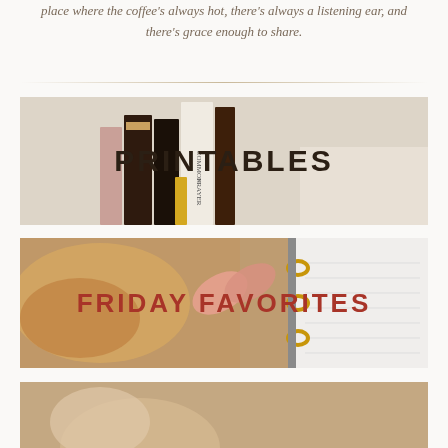place where the coffee's always hot, there's always a listening ear, and there's grace enough to share.
[Figure (photo): Photo of books on a shelf with PRINTABLES text overlaid in bold dark letters]
[Figure (photo): Photo of food and a gold ring binder planner with FRIDAY FAVORITES text overlaid in bold red letters]
[Figure (photo): Partial photo at the bottom of the page, cropped]